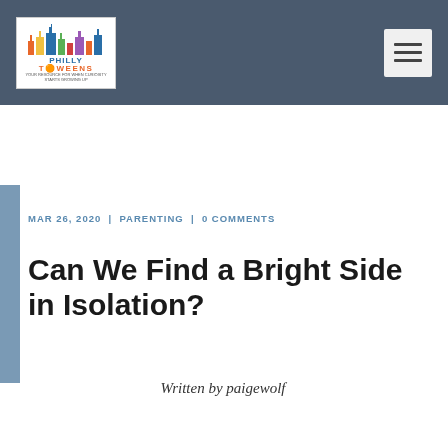Philly Tweens
MAR 26, 2020 | PARENTING | 0 COMMENTS
Can We Find a Bright Side in Isolation?
Written by paigewolf